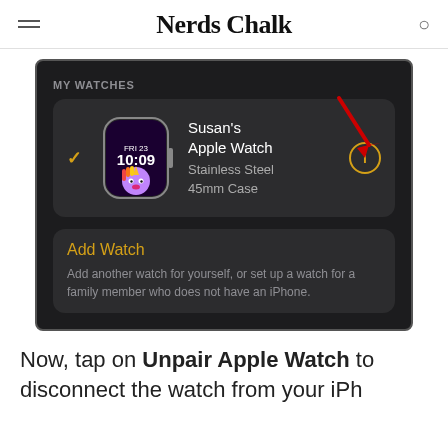Nerds Chalk
[Figure (screenshot): iOS Apple Watch app screenshot showing 'MY WATCHES' section with Susan's Apple Watch (Stainless Steel 45mm Case) listed, an info button circled in gold with a red arrow pointing to it, and an 'Add Watch' option below with descriptive text.]
Now, tap on Unpair Apple Watch to disconnect the watch from your iPh...